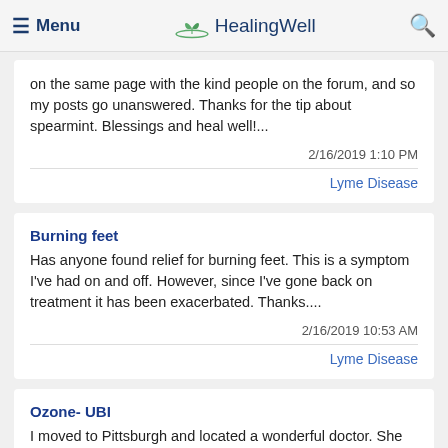Menu | HealingWell
on the same page with the kind people on the forum, and so my posts go unanswered. Thanks for the tip about spearmint. Blessings and heal well!...
2/16/2019 1:10 PM
Lyme Disease
Burning feet
Has anyone found relief for burning feet. This is a symptom I've had on and off. However, since I've gone back on treatment it has been exacerbated. Thanks....
2/16/2019 10:53 AM
Lyme Disease
Ozone- UBI
I moved to Pittsburgh and located a wonderful doctor. She uses ozone-Ubi combo. I had a doctor in Colorado who